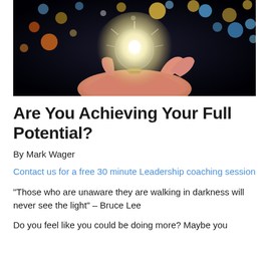[Figure (photo): A hand holding a glowing light bulb against a dark background with colorful bokeh lights (yellow, blue, orange, white circles). The bulb emits bright white light from its center.]
Are You Achieving Your Full Potential?
By Mark Wager
Contact us for a free 30 minute Leadership coaching session
“Those who are unaware they are walking in darkness will never see the light” – Bruce Lee
Do you feel like you could be doing more? Maybe you